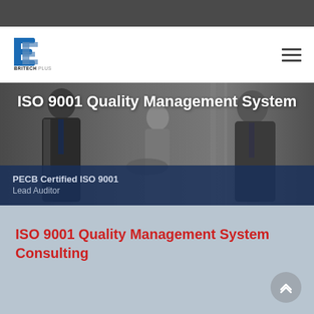[Figure (logo): Britech Plus logo with blue B icon and company name]
[Figure (photo): Business professionals shaking hands in formal attire, hero banner image for ISO 9001 Quality Management System page]
ISO 9001 Quality Management System
PECB Certified ISO 9001
Lead Auditor
ISO 9001 Quality Management System Consulting